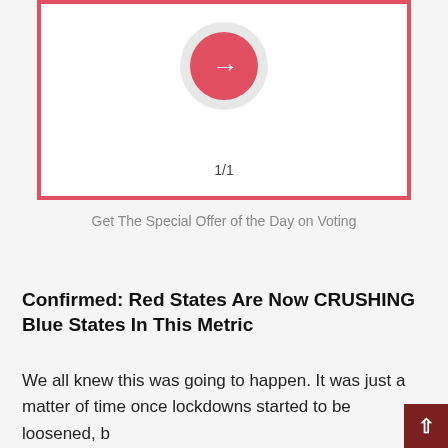[Figure (other): A red-bordered white card area containing a circular button with a right-arrow icon and pagination text '1/1' at the bottom.]
Get The Special Offer of the Day on Voting
Confirmed: Red States Are Now CRUSHING Blue States In This Metric
We all knew this was going to happen. It was just a matter of time once lockdowns started to be loosened, b